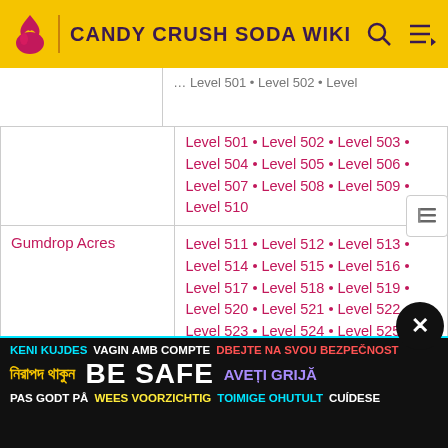CANDY CRUSH SODA WIKI
Level 501 · Level 502 · Level 503 · Level 504 · Level 505 · Level 506 · Level 507 · Level 508 · Level 509 · Level 510
| Gumdrop Acres | Level 511 · Level 512 · Level 513 · Level 514 · Level 515 · Level 516 · Level 517 · Level 518 · Level 519 · Level 520 · Level 521 · Level 522 · Level 523 · Level 524 · Level 525 |
| World 13 |  |
| Spun Sugar Carnival | Level 526 · Level 527 · Level 528 · Level 529 · Level 530 · Level 536 · Level 537 · Level ... |
BE SAFE — KENI KUJDES · VAGIN AMB COMPTE · DBEJTE NA SVOU BEZPEČNOST · নিরাপদ থাকুন · AVEȚI GRIJĂ · PAS GODT PÅ · WEES VOORZICHTIG · TOIMIGE OHUTULT · CUÍDESE